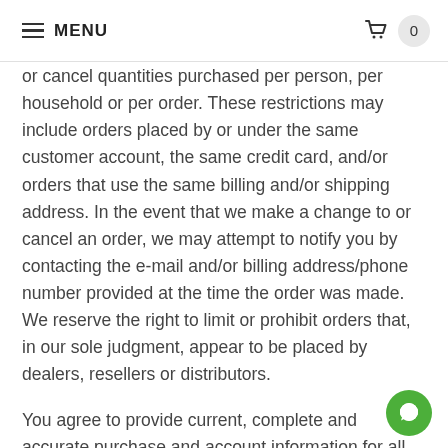≡ MENU
or cancel quantities purchased per person, per household or per order. These restrictions may include orders placed by or under the same customer account, the same credit card, and/or orders that use the same billing and/or shipping address. In the event that we make a change to or cancel an order, we may attempt to notify you by contacting the e-mail and/or billing address/phone number provided at the time the order was made. We reserve the right to limit or prohibit orders that, in our sole judgment, appear to be placed by dealers, resellers or distributors.
You agree to provide current, complete and accurate purchase and account information for all purchases made at our store. You agree to